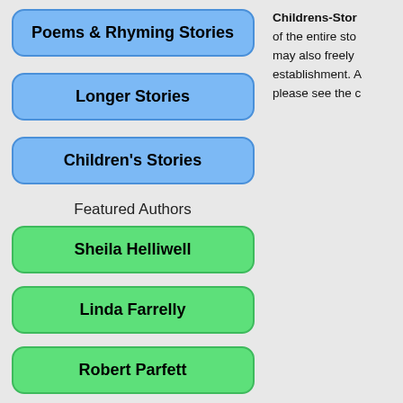Poems & Rhyming Stories
Longer Stories
Children's Stories
Featured Authors
Sheila Helliwell
Linda Farrelly
Robert Parfett
Artie Knapp
Childrens-Stor of the entire sto may also freely establishment. A please see the c